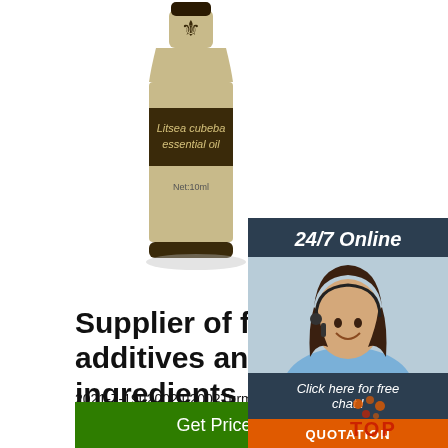[Figure (photo): A bottle of Litsea cubeba essential oil, 10ml, with a fleur-de-lis emblem, cream/gold label with dark band, on white background.]
[Figure (photo): 24/7 Online chat widget with a woman wearing a headset, smiling, with 'Click here for free chat!' text and an orange QUOTATION button.]
Supplier of food additives and ingredients
2021-7-19u2002·u2002Turmeric Root Extract Powder Curcumin is a herbaceous plant, by modern medicine and traditional medicine both support; and efficacy with a complete, totally no side effects, and edible. Chinese people always use it to maintain health and healing. Inquire Now
[Figure (logo): TOP logo in orange and red dots]
Get Price